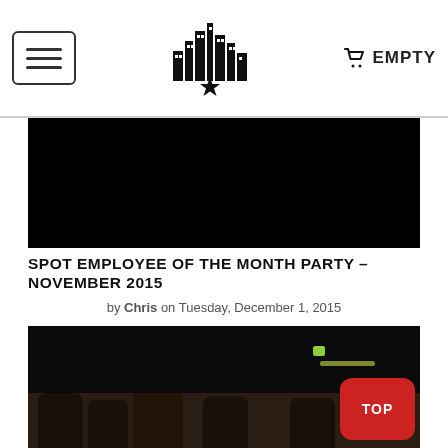EMPTY
[Figure (photo): Dark/black banner image at top of article]
SPOT EMPLOYEE OF THE MONTH PARTY – NOVEMBER 2015
by Chris on Tuesday, December 1, 2015
[Figure (photo): Group photo of employees at a party event, partially visible at bottom of page with a red TOP button overlay]